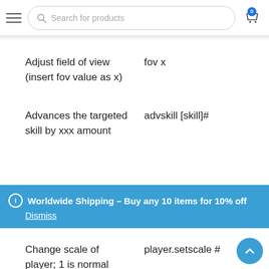[Figure (screenshot): Website header with hamburger menu, search bar reading 'Search for products', and shopping cart icon with badge showing 0]
| Description | Command |
| --- | --- |
| Adjust field of view (insert fov value as x) | fov x |
| Advances the targeted skill by xxx amount | advskill [skill]# |
| Change scale of player; 1 is normal | player.setscale # |
ⓘ Worldwide Shipping – Buy any 10 items for 10% off
Dismiss